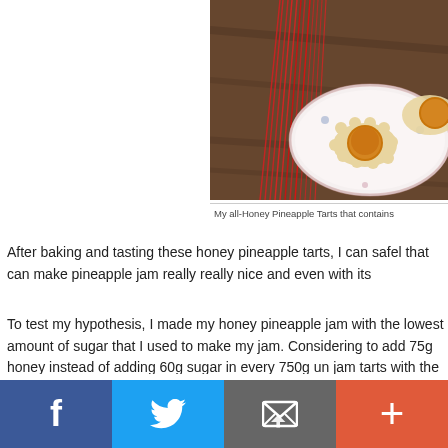[Figure (photo): Photo of pineapple tarts on a decorative plate with red string/tassel decorations on a dark wooden background]
My all-Honey Pineapple Tarts that contains
After baking and tasting these honey pineapple tarts, I can safel that can make pineapple jam really really nice and even with its
To test my hypothesis, I made my honey pineapple jam with the lowest amount of sugar that I used to make my jam. Considering to add 75g honey instead of adding 60g sugar in every 750g un jam tarts with the same lowest amount of sugar actually taste sw same amount of sugar! Perhaps, the additional hint of honey fra pineapples that I used were different in their sweetness and sug
[Figure (infographic): Social media share bar with Facebook, Twitter, Email, and Plus buttons]